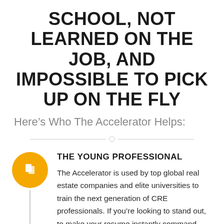SCHOOL, NOT LEARNED ON THE JOB, AND IMPOSSIBLE TO PICK UP ON THE FLY
Here's Who The Accelerator Helps:
THE YOUNG PROFESSIONAL
The Accelerator is used by top global real estate companies and elite universities to train the next generation of CRE professionals. If you're looking to stand out, to make your resume instantly command attention, the Accelerator will give